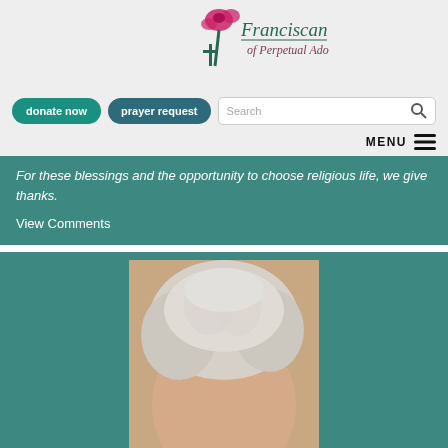[Figure (logo): Franciscan Sisters of Perpetual Adoration logo with rose and cross]
[Figure (screenshot): Navigation bar with donate now and prayer request buttons and search field]
[Figure (screenshot): Menu bar with MENU label and hamburger icon]
For these blessings and the opportunity to choose religious life, we give thanks.
View Comments
[Figure (photo): Portrait photo of a person with white/grey hair, cropped at top of head, set against teal background]